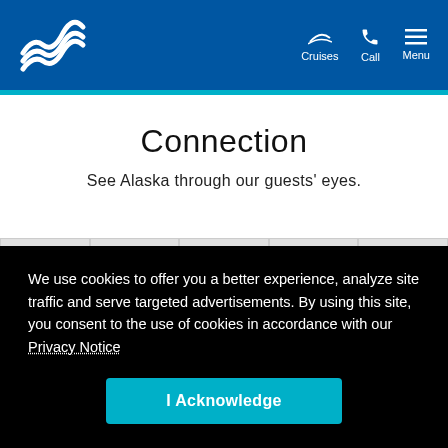Princess Cruises — Cruises | Call | Menu
Connection
See Alaska through our guests' eyes.
[Figure (photo): Gallery strip with 5 placeholder image cells]
We use cookies to offer you a better experience, analyze site traffic and serve targeted advertisements. By using this site, you consent to the use of cookies in accordance with our Privacy Notice
I Acknowledge